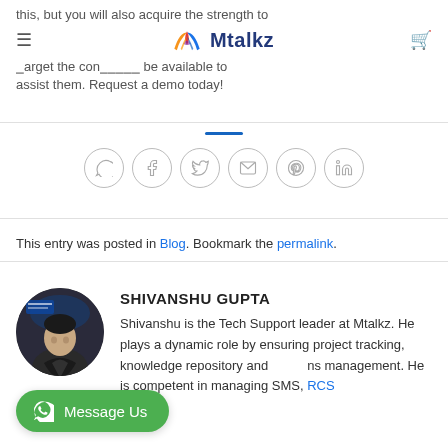this, but you will also acquire the strength to target the conditions be available to assist them. Request a demo today!
[Figure (logo): Mtalkz logo with colorful M icon and blue brand name text]
[Figure (infographic): Six social share icon circles: WhatsApp, Facebook, Twitter, Email, Pinterest, LinkedIn]
This entry was posted in Blog. Bookmark the permalink.
[Figure (photo): Circular profile photo of Shivanshu Gupta at a conference event]
SHIVANSHU GUPTA
Shivanshu is the Tech Support leader at Mtalkz. He plays a dynamic role by ensuring project tracking, knowledge repository and communications management. He is competent in managing SMS, RCS